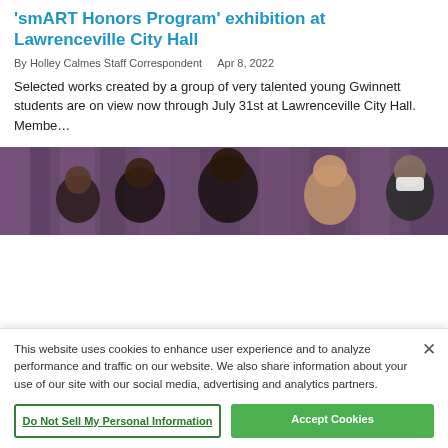'smART Honors Program' exhibition at Lawrenceville City Hall
By Holley Calmes Staff Correspondent   Apr 8, 2022
Selected works created by a group of very talented young Gwinnett students are on view now through July 31st at Lawrenceville City Hall. Membe…
[Figure (photo): Group photo of several people posing in front of a purple curtain backdrop; one person is wearing a white face mask.]
This website uses cookies to enhance user experience and to analyze performance and traffic on our website. We also share information about your use of our site with our social media, advertising and analytics partners.
Do Not Sell My Personal Information
Accept Cookies